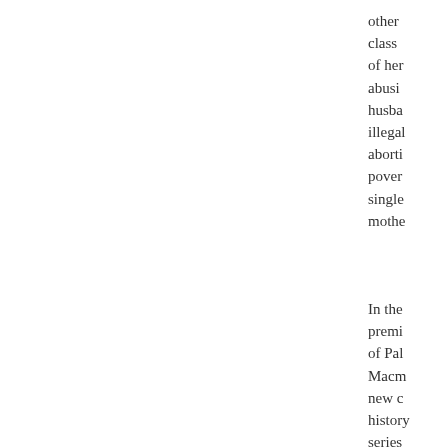other class of her abusive husband illegal aborti poverty single mother
In the premi of Pal Macm new c history series Ruutti rema story o in her words